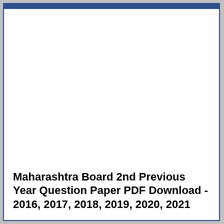Maharashtra Board 2nd Previous Year Question Paper PDF Download - 2016, 2017, 2018, 2019, 2020, 2021